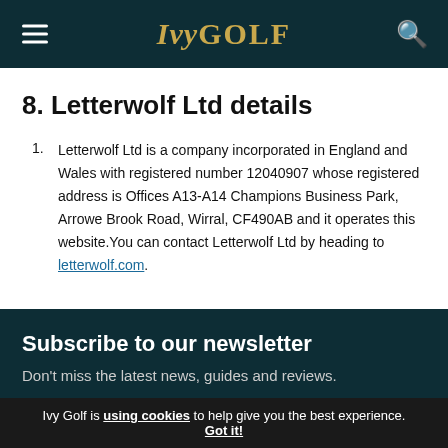IvyGolf
8. Letterwolf Ltd details
Letterwolf Ltd is a company incorporated in England and Wales with registered number 12040907 whose registered address is Offices A13-A14 Champions Business Park, Arrowe Brook Road, Wirral, CF490AB and it operates this website. You can contact Letterwolf Ltd by heading to letterwolf.com.
Subscribe to our newsletter
Don't miss the latest news, guides and reviews.
Ivy Golf is using cookies to help give you the best experience. Got it!